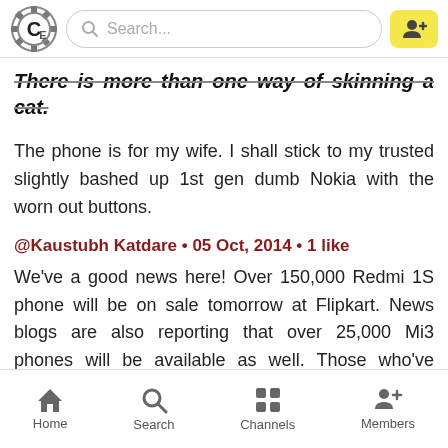Search...
There is more than one way of skinning a cat.
The phone is for my wife. I shall stick to my trusted slightly bashed up 1st gen dumb Nokia with the worn out buttons.
@Kaustubh Katdare • 05 Oct, 2014 • 1 like
We've a good news here! Over 150,000 Redmi 1S phone will be on sale tomorrow at Flipkart. News blogs are also reporting that over 25,000 Mi3 phones will be available as well. Those who've made about 5 attempts at buying Mi3 will get the phones added to their shopping carts
Home  Search  Channels  Members